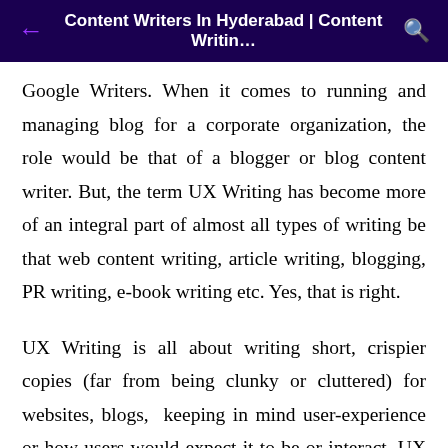Content Writers In Hyderabad | Content Writin…
Google Writers. When it comes to running and managing blog for a corporate organization, the role would be that of a blogger or blog content writer. But, the term UX Writing has become more of an integral part of almost all types of writing be that web content writing, article writing, blogging, PR writing, e-book writing etc. Yes, that is right.
UX Writing is all about writing short, crispier copies (far from being clunky or cluttered) for websites, blogs, keeping in mind user-experience or how users would expect it to be or interact. UX writing inevitably increases